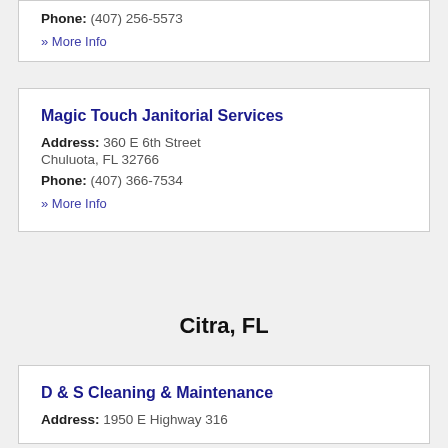Phone: (407) 256-5573
» More Info
Magic Touch Janitorial Services
Address: 360 E 6th Street Chuluota, FL 32766
Phone: (407) 366-7534
» More Info
Citra, FL
D & S Cleaning & Maintenance
Address: 1950 E Highway 316